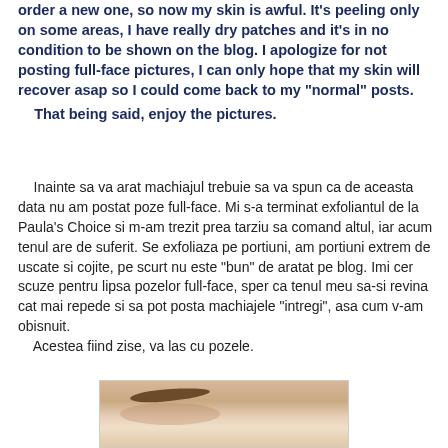order a new one, so now my skin is awful. It's peeling only on some areas, I have really dry patches and it's in no condition to be shown on the blog. I apologize for not posting full-face pictures, I can only hope that my skin will recover asap so I could come back to my "normal" posts.
That being said, enjoy the pictures.
Inainte sa va arat machiajul trebuie sa va spun ca de aceasta data nu am postat poze full-face. Mi s-a terminat exfoliantul de la Paula's Choice si m-am trezit prea tarziu sa comand altul, iar acum tenul are de suferit. Se exfoliaza pe portiuni, am portiuni extrem de uscate si cojite, pe scurt nu este "bun" de aratat pe blog. Imi cer scuze pentru lipsa pozelor full-face, sper ca tenul meu sa-si revina cat mai repede si sa pot posta machiajele "intregi", asa cum v-am obisnuit.
Acestea fiind zise, va las cu pozele.
[Figure (photo): Close-up photo of a person's eye area showing skin texture and eyebrow]